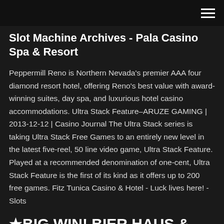Slot Machine Archives - Pala Casino Spa & Resort
Peppermill Reno is Northern Nevada's premier AAA four diamond resort hotel, offering Reno's best value with award-winning suites, day spa, and luxurious hotel casino accommodations. Ultra Stack Feature–ARUZE GAMING | 2013-12-12 | Casino Journal The Ultra Stack series is taking Ultra Stack Free Games to an entirely new level in the latest five-reel, 50 line video game, Ultra Stack Feature. Played at a recommended denomination of one-cent, Ultra Stack Feature is the first of its kind as it offers up to 200 free games. Fitz Tunica Casino & Hotel - Luck lives here! - Slots
★BIG WIN! BIER HAUS & Mayan